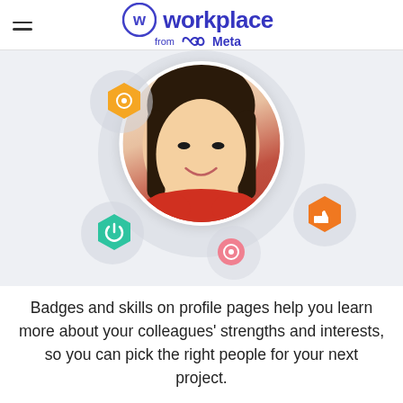workplace from Meta
[Figure (illustration): A smiling Asian woman in a red sweater shown in a circular profile picture, surrounded by decorative hexagonal badge icons (yellow star/eye badge top-left, orange thumbs-up badge right, green power button badge bottom-left, pink badge bottom-center) on a light grey background. Represents Workplace profile badges and skills feature.]
Badges and skills on profile pages help you learn more about your colleagues' strengths and interests, so you can pick the right people for your next project.